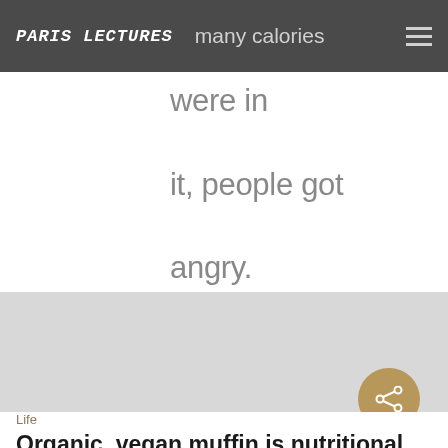PARIS LECTURES — many calories were in it, people got angry.
many calories were in it, people got angry.
[Figure (photo): Gray placeholder image block]
Life
Organic, vegan muffin is nutritional nightmare